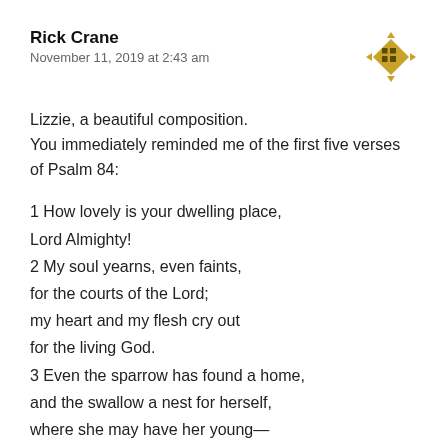Rick Crane
November 11, 2019 at 2:43 am
Lizzie, a beautiful composition.
You immediately reminded me of the first five verses of Psalm 84:
1 How lovely is your dwelling place,
Lord Almighty!
2 My soul yearns, even faints,
for the courts of the Lord;
my heart and my flesh cry out
for the living God.
3 Even the sparrow has found a home,
and the swallow a nest for herself,
where she may have her young—
a place near your altar,